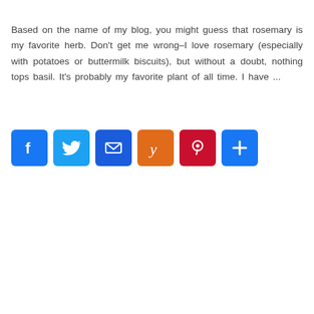Based on the name of my blog, you might guess that rosemary is my favorite herb. Don't get me wrong–I love rosemary (especially with potatoes or buttermilk biscuits), but without a doubt, nothing tops basil. It's probably my favorite plant of all time. I have ...
[Figure (infographic): Row of six social sharing icon buttons: Facebook (blue), Twitter (blue), Email (dark blue), Yummly (orange), Pinterest (red), Share/Plus (blue)]